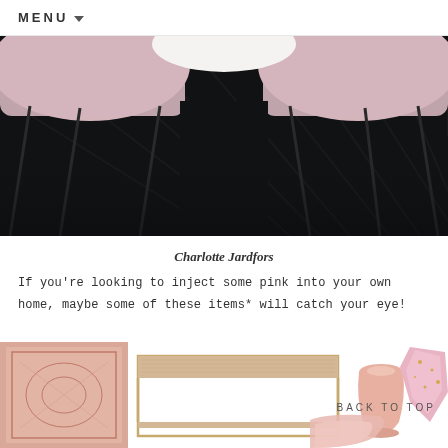MENU
[Figure (photo): Overhead/low-angle photo of two blush pink velvet chairs with dark metal legs on a dark charcoal/black rug, with a white round table partially visible at top center]
Charlotte Jardfors
If you're looking to inject some pink into your own home, maybe some of these items* will catch your eye!
[Figure (photo): Product collage showing: a pink/rose patterned rug, a wooden coffee table with gold metal frame, a pink ceramic vase, a pink crystal/geode, and pink linen/fabric]
BACK TO TOP